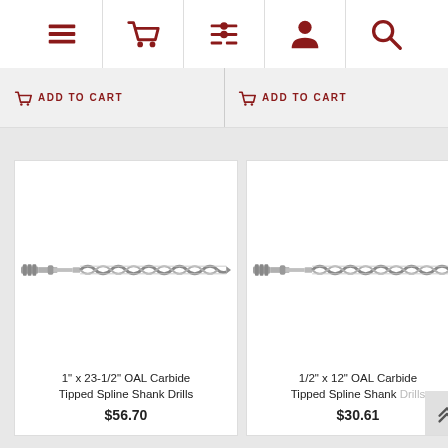[Figure (screenshot): Navigation bar with menu, cart, filter, user, and search icons in dark red]
ADD TO CART
ADD TO CART
[Figure (photo): Carbide Tipped Spline Shank Drill bit - 1 inch x 23-1/2 inch OAL]
1" x 23-1/2" OAL Carbide Tipped Spline Shank Drills
$56.70
[Figure (photo): Carbide Tipped Spline Shank Drill bit - 1/2 inch x 12 inch OAL]
1/2" x 12" OAL Carbide Tipped Spline Shank Drills
$30.61